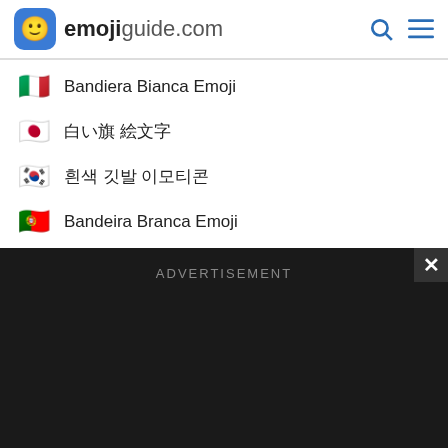emojiguide.com
🇮🇹 Bandiera Bianca Emoji
🇯🇵 白い旗絵文字
🇰🇷 흰색 깃발 이모티콘
🇵🇹 Bandeira Branca Emoji
🇷🇺 Белый флаг Эмодзи
🇪🇸 Bandera Blanca Emoji
🇹🇱 Bandilang Puti Emoji
🇵🇰 علم أبيض إيموجي